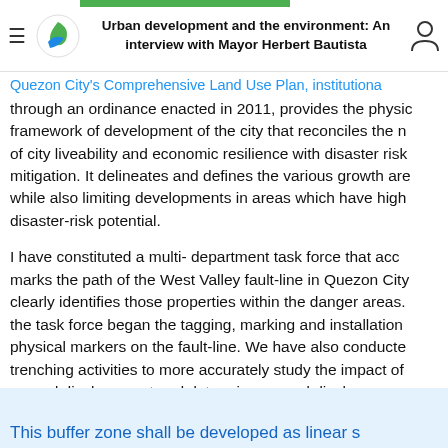Urban development and the environment: An interview with Mayor Herbert Bautista
Quezon City's Comprehensive Land Use Plan, institutionalized through an ordinance enacted in 2011, provides the physical framework of development of the city that reconciles the needs of city liveability and economic resilience with disaster risk mitigation. It delineates and defines the various growth areas while also limiting developments in areas which have high disaster-risk potential.
I have constituted a multi- department task force that accurately marks the path of the West Valley fault-line in Quezon City and clearly identifies those properties within the danger areas. First, the task force began the tagging, marking and installation of physical markers on the fault-line. We have also conducted trenching activities to more accurately study the impact of ground displacement and determine ground displacement
This buffer zone shall be developed as linear...